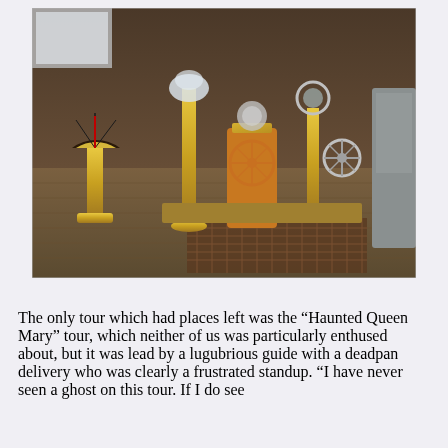[Figure (photo): Photograph of brass navigational instruments and equipment on the deck of a ship, including a telegraph, compass binnacle, wheels and other nautical brass fittings, on a wooden floor with a slatted deck grating.]
The only tour which had places left was the “Haunted Queen Mary” tour, which neither of us was particularly enthused about, but it was lead by a lugubrious guide with a deadpan delivery who was clearly a frustrated standup. “I have never seen a ghost on this tour. If I do see